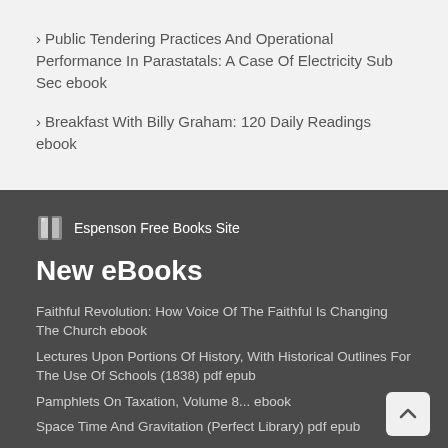> Public Tendering Practices And Operational Performance In Parastatals: A Case Of Electricity Sub Sec ebook
> Breakfast With Billy Graham: 120 Daily Readings ebook
[Figure (logo): Book icon logo for Espenson Free Books Site]
Espenson Free Books Site
New eBooks
Faithful Revolution: How Voice Of The Faithful Is Changing The Church ebook
Lectures Upon Portions Of History, With Historical Outlines For The Use Of Schools (1838) pdf epub
Pamphlets On Taxation, Volume 8... ebook
Space Time And Gravitation (Perfect Library) pdf epub